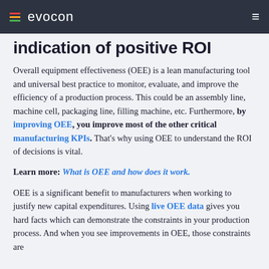evocon
indication of positive ROI
Overall equipment effectiveness (OEE) is a lean manufacturing tool and universal best practice to monitor, evaluate, and improve the efficiency of a production process. This could be an assembly line, machine cell, packaging line, filling machine, etc. Furthermore, by improving OEE, you improve most of the other critical manufacturing KPIs. That's why using OEE to understand the ROI of decisions is vital.
Learn more: What is OEE and how does it work.
OEE is a significant benefit to manufacturers when working to justify new capital expenditures. Using live OEE data gives you hard facts which can demonstrate the constraints in your production process. And when you see improvements in OEE, those constraints are